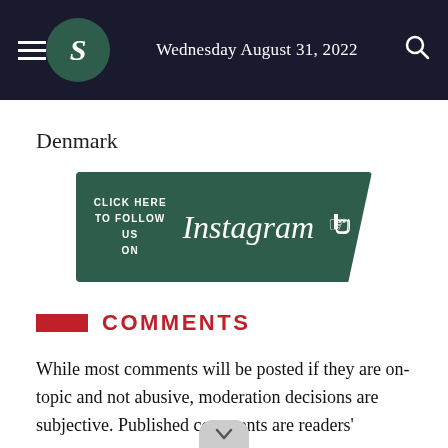Wednesday August 31, 2022
Denmark
[Figure (infographic): Dark green Instagram follow banner reading CLICK HERE TO FOLLOW US ON Instagram with a hand pointer icon]
COMMENTS
While most comments will be posted if they are on-topic and not abusive, moderation decisions are subjective. Published comments are readers'